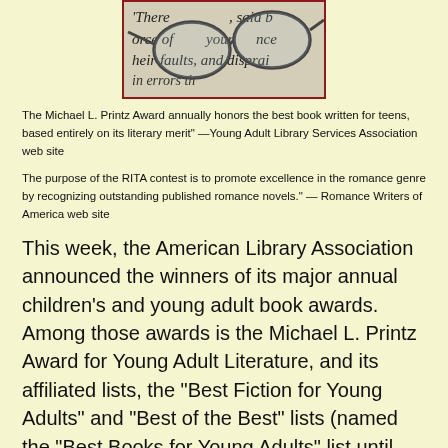[Figure (photo): Close-up photograph of reading glasses resting on a page of printed text, with words like 'There', 'said', 'orce of your', 'nce', 'heir faults, and disprai' visible beneath the lenses.]
The Michael L. Printz Award annually honors the best book written for teens, based entirely on its literary merit" —Young Adult Library Services Association web site
The purpose of the RITA contest is to promote excellence in the romance genre by recognizing outstanding published romance novels." — Romance Writers of America web site
This week, the American Library Association announced the winners of its major annual children's and young adult book awards. Among those awards is the Michael L. Printz Award for Young Adult Literature, and its affiliated lists, the "Best Fiction for Young Adults" and "Best of the Best" lists (named the "Best Books for Young Adults" list until 2011). Librarians, booksellers, and especially publisher across the country wait with bated breath for the announcement of said awards. Winning guarantees not only a big increase in a book's sales, as schools, libraries, and booksellers rush to stock titles with YALSA's stamp of approval, but a welcome addition of prestige.